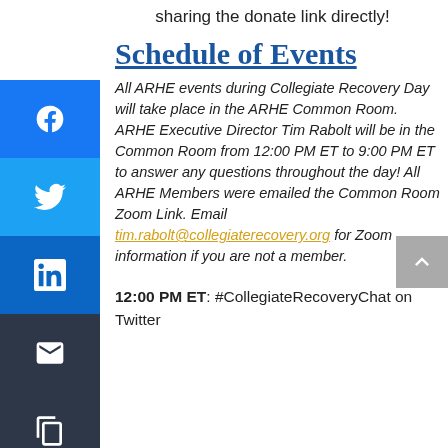sharing the donate link directly!
Schedule of Events
All ARHE events during Collegiate Recovery Day will take place in the ARHE Common Room. ARHE Executive Director Tim Rabolt will be in the Common Room from 12:00 PM ET to 9:00 PM ET to answer any questions throughout the day! All ARHE Members were emailed the Common Room Zoom Link. Email tim.rabolt@collegiaterecovery.org for Zoom information if you are not a member.
12:00 PM ET: #CollegiateRecoveryChat on Twitter